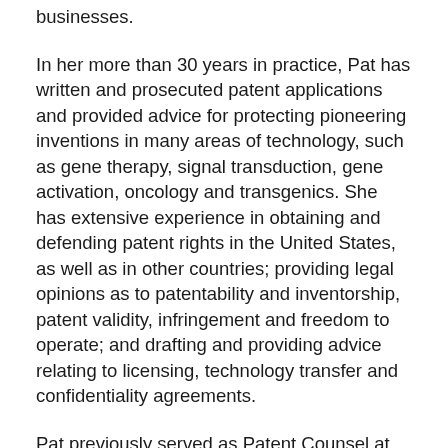businesses.
In her more than 30 years in practice, Pat has written and prosecuted patent applications and provided advice for protecting pioneering inventions in many areas of technology, such as gene therapy, signal transduction, gene activation, oncology and transgenics. She has extensive experience in obtaining and defending patent rights in the United States, as well as in other countries; providing legal opinions as to patentability and inventorship, patent validity, infringement and freedom to operate; and drafting and providing advice relating to licensing, technology transfer and confidentiality agreements.
Pat previously served as Patent Counsel at the Whitehead Institute for Biomedical Research and has worked in product development and evaluation as a member of the Life Sciences Division at Arthur D. Little, Inc. She also headed a University of Massachusetts nutrition education program for children in low-income families, worked on analysis of